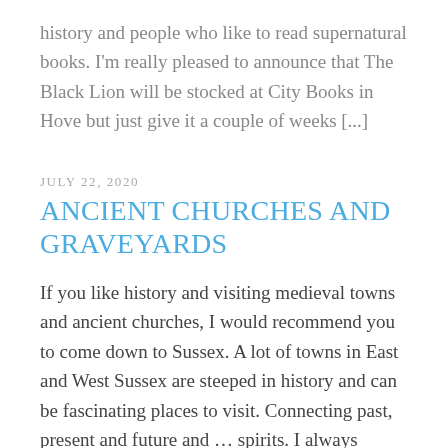history and people who like to read supernatural books. I'm really pleased to announce that The Black Lion will be stocked at City Books in Hove but just give it a couple of weeks [...]
JULY 22, 2020
ANCIENT CHURCHES AND GRAVEYARDS
If you like history and visiting medieval towns and ancient churches, I would recommend you to come down to Sussex. A lot of towns in East and West Sussex are steeped in history and can be fascinating places to visit. Connecting past, present and future and ... spirits. I always enjoyed visiting ancient churches and [...]